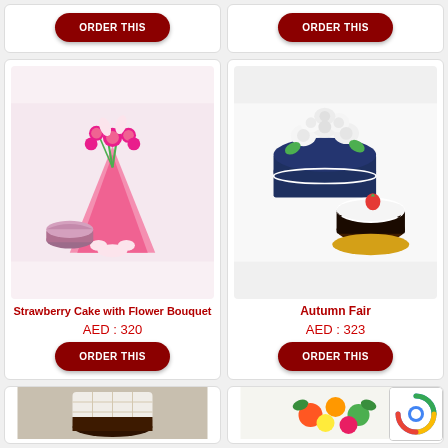[Figure (photo): Top-left card partial: ORDER THIS button visible at top]
[Figure (photo): Top-right card partial: ORDER THIS button visible at top]
[Figure (photo): Strawberry Cake with Flower Bouquet product image: pink flower bouquet with small strawberry cake]
Strawberry Cake with Flower Bouquet
AED : 320
[Figure (photo): Autumn Fair product image: white roses in dark box with chocolate cake]
Autumn Fair
AED : 323
[Figure (photo): Bottom-left card partial: product image partially visible]
[Figure (photo): Bottom-right card partial: product image partially visible]